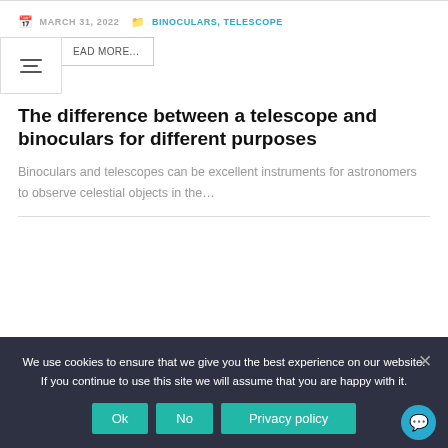MARCH 31, 2022  BINOCULARS, TELESCOPE
EAD MORE...
The difference between a telescope and binoculars for different purposes
Binoculars and telescopes can be excellent instruments for astronomers to observe celestial objects in the...
We use cookies to ensure that we give you the best experience on our website. If you continue to use this site we will assume that you are happy with it.